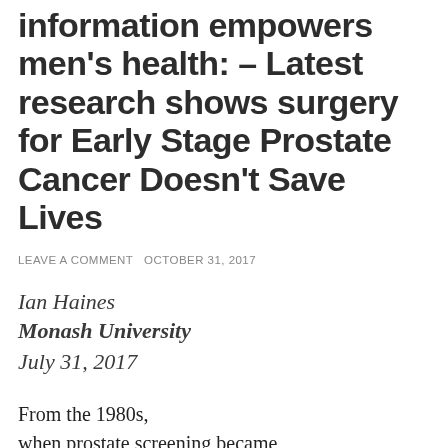information empowers men's health: – Latest research shows surgery for Early Stage Prostate Cancer Doesn't Save Lives
LEAVE A COMMENT  OCTOBER 31, 2017
Ian Haines
Monash University
July 31, 2017
From the 1980s, when prostate screening became available, many men over 40 were diagnosed with early stage prostate cancer even though